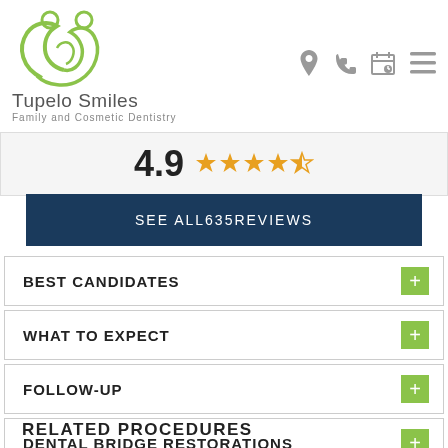[Figure (logo): Tupelo Smiles logo - stylized green figures/leaves]
Tupelo Smiles
Family and Cosmetic Dentistry
[Figure (infographic): Rating display showing 4.9 with 5 gold/orange stars (last partially filled)]
SEE ALL635REVIEWS
BEST CANDIDATES
WHAT TO EXPECT
FOLLOW-UP
DENTAL BRIDGE RESTORATIONS
RELATED PROCEDURES